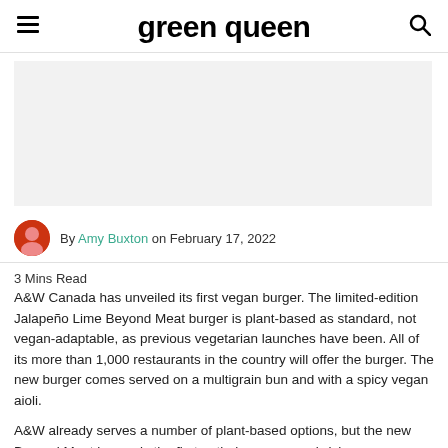green queen
[Figure (photo): Hero image placeholder — light gray rectangle representing an article header image]
By Amy Buxton on February 17, 2022
3 Mins Read
A&W Canada has unveiled its first vegan burger. The limited-edition Jalapeño Lime Beyond Meat burger is plant-based as standard, not vegan-adaptable, as previous vegetarian launches have been. All of its more than 1,000 restaurants in the country will offer the burger. The new burger comes served on a multigrain bun and with a spicy vegan aioli.
A&W already serves a number of plant-based options, but the new Beyond Meat burger is the first entirely vegan sandwich on